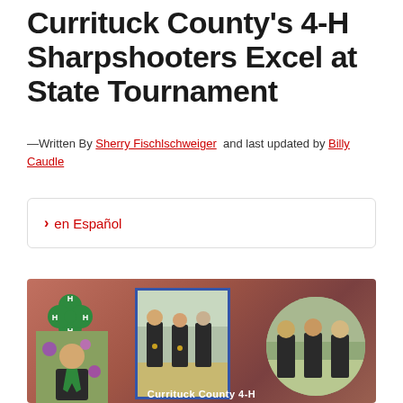Currituck County's 4-H Sharpshooters Excel at State Tournament
—Written By Sherry Fischlschweiger and last updated by Billy Caudle
> en Español
[Figure (photo): Collage image with 4-H clover logo, a rectangular photo of three girls in black shirts with medals at an outdoor shooting event, a circular photo of three young people standing outdoors, and a hexagonal/circle photo of a young girl with a green ribbon or lanyard. Background is a warm reddish-brown gradient. Text at bottom reads 'Currituck County 4-H'.]